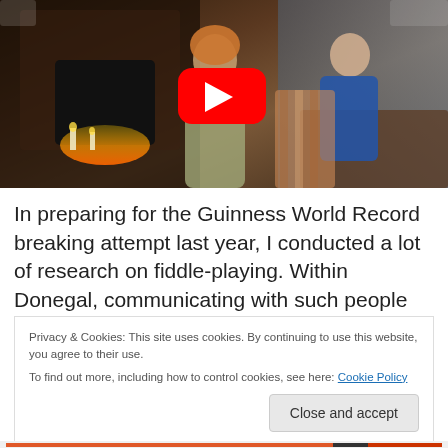[Figure (photo): YouTube video thumbnail showing a woman playing fiddle/violin in a pub setting near a fireplace, with another woman in a blue jacket seated at a table in the background. A red YouTube play button is overlaid in the center.]
In preparing for the Guinness World Record breaking attempt last year, I conducted a lot of research on fiddle-playing. Within Donegal, communicating with such people
Privacy & Cookies: This site uses cookies. By continuing to use this website, you agree to their use.
To find out more, including how to control cookies, see here: Cookie Policy
Close and accept